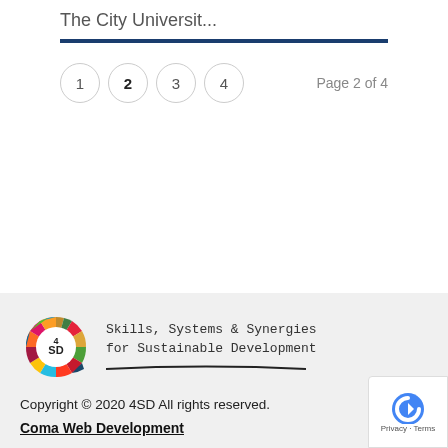The City Universit...
Page 2 of 4
1  2  3  4
[Figure (logo): 4SD colorful wheel logo with segments in multiple colors (SDG color wheel) with '4SD' text in the center]
Skills, Systems & Synergies for Sustainable Development
Copyright © 2020 4SD All rights reserved.
Coma Web Development